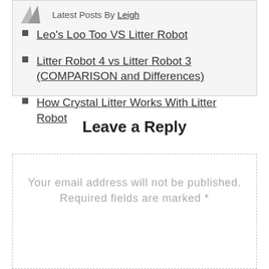Latest Posts By Leigh
Leo's Loo Too VS Litter Robot
Litter Robot 4 vs Litter Robot 3 (COMPARISON and Differences)
How Crystal Litter Works With Litter Robot
Leave a Reply
Your email address will not be published. Required fields are marked *